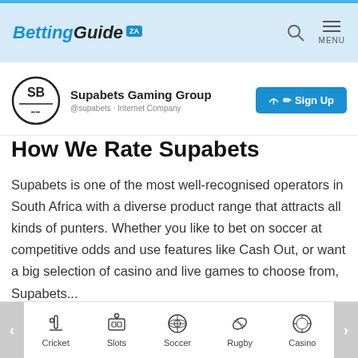BettingGuide ZA
[Figure (screenshot): Supabets Gaming Group Facebook/social page snippet showing SB logo, company name, handle @supabets · Internet Company, and a Sign Up button]
How We Rate Supabets
Supabets is one of the most well-recognised operators in South Africa with a diverse product range that attracts all kinds of punters. Whether you like to bet on soccer at competitive odds and use features like Cash Out, or want a big selection of casino and live games to choose from, Supabets has it all for you. While we rate it…
Cricket  Slots  Soccer  Rugby  Casino